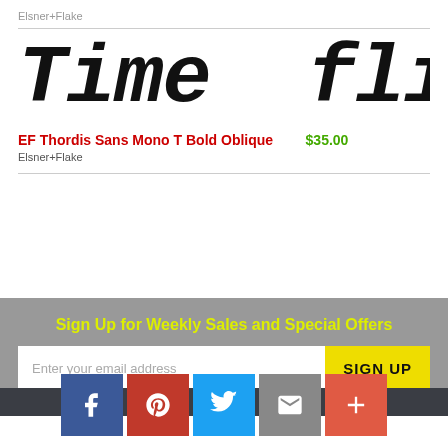Elsner+Flake
[Figure (other): Large bold italic monospace specimen text reading 'Time flies li' (truncated), in black on white background]
EF Thordis Sans Mono T Bold Oblique   $35.00
Elsner+Flake
Sign Up for Weekly Sales and Special Offers
Enter your email address   SIGN UP
[Figure (infographic): Row of five social media icon buttons: Facebook (blue), Pinterest (red), Twitter (light blue), Email/mail (grey), Plus/more (orange-red)]